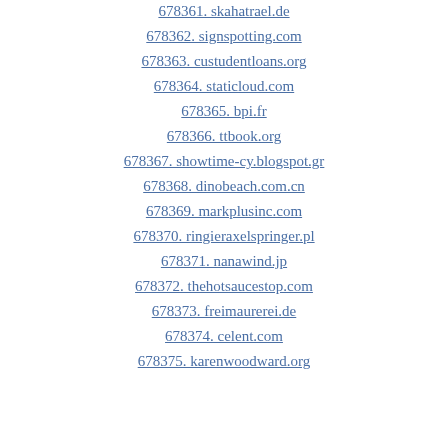678361. skahatrael.de
678362. signspotting.com
678363. custudentloans.org
678364. staticloud.com
678365. bpi.fr
678366. ttbook.org
678367. showtime-cy.blogspot.gr
678368. dinobeach.com.cn
678369. markplusinc.com
678370. ringieraxelspringer.pl
678371. nanawind.jp
678372. thehotsaucestop.com
678373. freimaurerei.de
678374. celent.com
678375. karenwoodward.org